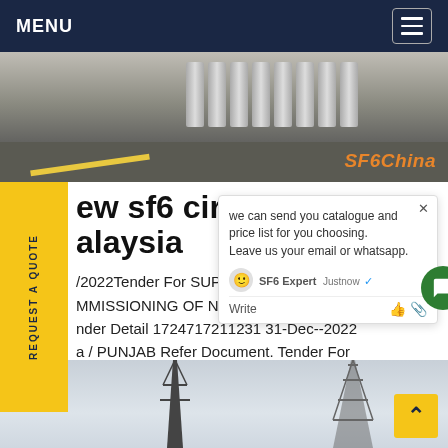MENU
[Figure (photo): Hero image showing industrial gas cylinders near a road, with SF6China watermark in orange]
new sf6 circuit breaker malaysia
/2022Tender For SUPPLY,ERECTION AND COMMISSIONING OF NEW CIRCUIT Tender Detail 1724717211231 31-Dec-2022 a / PUNJAB Refer Document. Tender For curement of 1400kg sf 6 Gas in 25 KG ndersGet price
[Figure (screenshot): Chat popup overlay: 'we can send you catalogue and price list for you choosing. Leave us your email or whatsapp.' with SF6 Expert agent shown as justnow with checkmark, and Write input area]
[Figure (photo): Bottom image showing power line pylons against a grey sky]